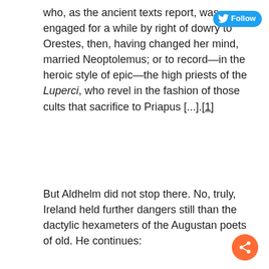who, as the ancient texts report, was engaged for a while by right of dowry to Orestes, then, having changed her mind, married Neoptolemus; or to record—in the heroic style of epic—the high priests of the Luperci, who revel in the fashion of those cults that sacrifice to Priapus [...]. [1]
But Aldhelm did not stop there. No, truly, Ireland held further dangers still than the dactylic hexameters of the Augustan poets of old. He continues:
Porro tuum discipulatum ceu cernuus arcuatis poplitibus flexisque suffraginibus feculenta farna compulsus posco, ut nequaquam prostibula vel lupanarium nugas, in quis pompulentae prostitutae delitescunt, lenocinante luxu adeas, quae obrizo rutilante periscelidis armillaque lacertorum terete utpote faleris falerati curules comuntur, [...]